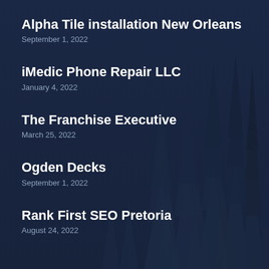[Figure (illustration): Dark navy blue background with silhouettes of tall pine/fir trees in varying shades of dark blue, creating a forest scene]
Alpha Tile installation New Orleans
September 1, 2022
iMedic Phone Repair LLC
January 4, 2022
The Franchise Executive
March 25, 2022
Ogden Decks
September 1, 2022
Rank First SEO Pretoria
August 24, 2022